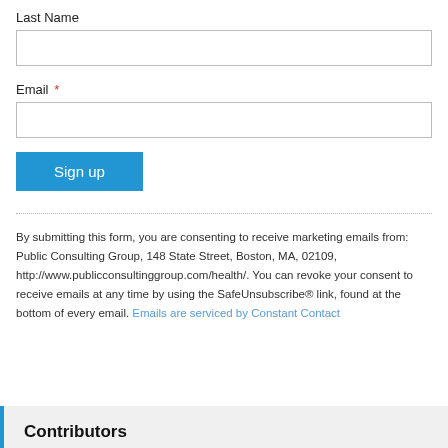Last Name
Email *
Sign up
By submitting this form, you are consenting to receive marketing emails from: Public Consulting Group, 148 State Street, Boston, MA, 02109, http://www.publicconsultinggroup.com/health/. You can revoke your consent to receive emails at any time by using the SafeUnsubscribe® link, found at the bottom of every email. Emails are serviced by Constant Contact
Contributors